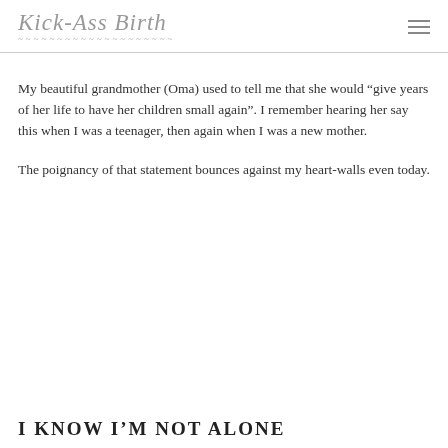Kick-Ass Birth
My beautiful grandmother (Oma) used to tell me that she would “give years of her life to have her children small again”. I remember hearing her say this when I was a teenager, then again when I was a new mother.
The poignancy of that statement bounces against my heart-walls even today.
I KNOW I’M NOT ALONE